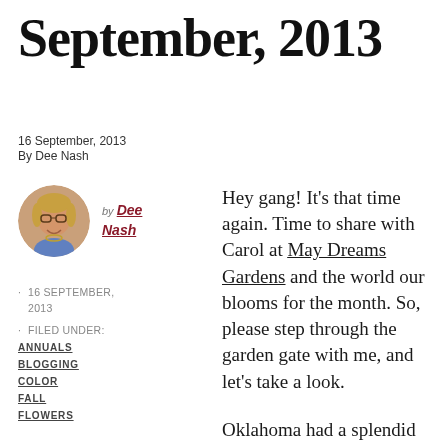September, 2013
16 September, 2013
By Dee Nash
[Figure (photo): Circular avatar photo of Dee Nash, a woman with glasses and short blonde hair, smiling]
by Dee Nash
16 SEPTEMBER, 2013
FILED UNDER: ANNUALS BLOGGING COLOR FALL FLOWERS
Hey gang! It's that time again. Time to share with Carol at May Dreams Gardens and the world our blooms for the month. So, please step through the garden gate with me, and let's take a look.
Oklahoma had a splendid summer, so mild and full of rain I could hardly keep up with the weeds; honestly, I've